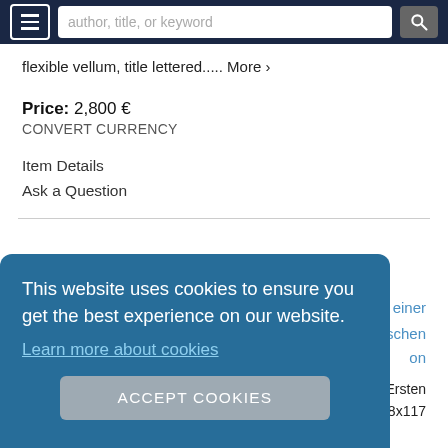author, title, or keyword
flexible vellum, title lettered..... More >
Price: 2,800 €
CONVERT CURRENCY
Item Details
Ask a Question
This website uses cookies to ensure you get the best experience on our website.
Learn more about cookies
ACCEPT COOKIES
mm), [72], 254, [8] pp. Errata leaf at end.